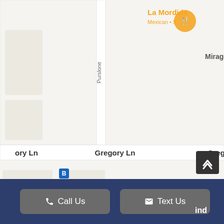[Figure (map): Google Maps screenshot showing Gregory Ln area with Contra Costa Canal and Canal Trail, featuring La Mordida Mexican restaurant, Mirage Nails, Thai Village, and 7-Eleven convenience store markers. Blue canal lines run diagonally through the map.]
Call Us
Text Us